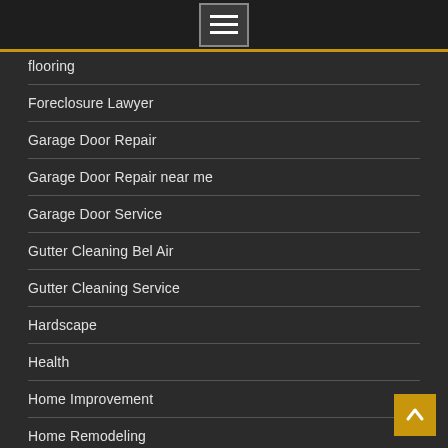Navigation menu button
flooring
Foreclosure Lawyer
Garage Door Repair
Garage Door Repair near me
Garage Door Service
Gutter Cleaning Bel Air
Gutter Cleaning Service
Hardscape
Health
Home Improvement
Home Remodeling
Home Services